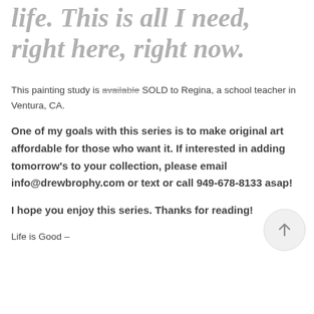life.  This is all I need, right here, right now.
This painting study is available SOLD to Regina, a school teacher in Ventura, CA.
One of my goals with this series is to make original art affordable for those who want it.  If interested in adding tomorrow's to your collection, please email info@drewbrophy.com or text or call 949-678-8133 asap!
I hope you enjoy this series.  Thanks for reading!
Life is Good –